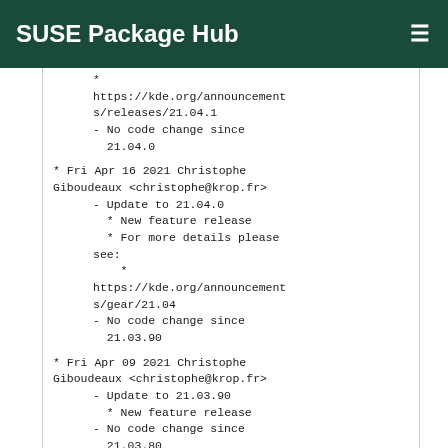SUSE Package Hub
*
https://kde.org/announcements/releases/21.04.1
- No code change since
21.04.0
* Fri Apr 16 2021 Christophe Giboudeaux <christophe@krop.fr>
- Update to 21.04.0
  * New feature release
  * For more details please see:
    *
https://kde.org/announcements/gear/21.04
- No code change since
21.03.90
* Fri Apr 09 2021 Christophe Giboudeaux <christophe@krop.fr>
- Update to 21.03.90
  * New feature release
- No code change since
21.03.80
* Sun Mar 21 2021 Christophe Giboudeaux <christophe@krop.fr>
- Update to 21.03.80
  * New feature release
- Changes since 20.12.3:
  * Add pre-commit hook for